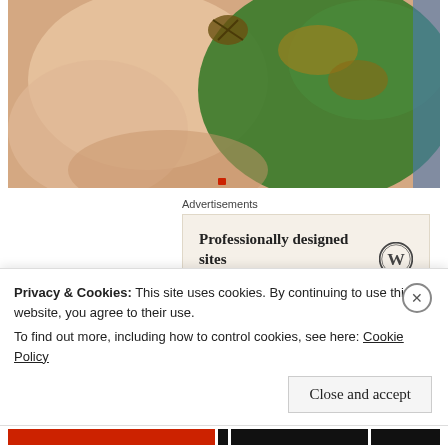[Figure (photo): Partial view of a painting or photograph showing a woman with bare skin draped in ornate green fabric with golden embroidery, reclining pose, with a small red mark visible near the bottom]
Advertisements
Professionally designed sites in less than a week
Disturbingly, she was married off at the mere age of 13 to a Turkish diplomat/British citizen 15 years her
Privacy & Cookies: This site uses cookies. By continuing to use this website, you agree to their use.
To find out more, including how to control cookies, see here: Cookie Policy
Close and accept